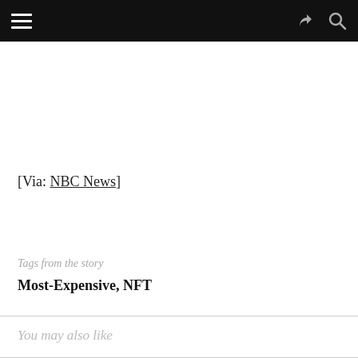Navigation bar with menu, share, and search icons
[Via: NBC News]
Tags from the story
Most-Expensive, NFT
You may also like